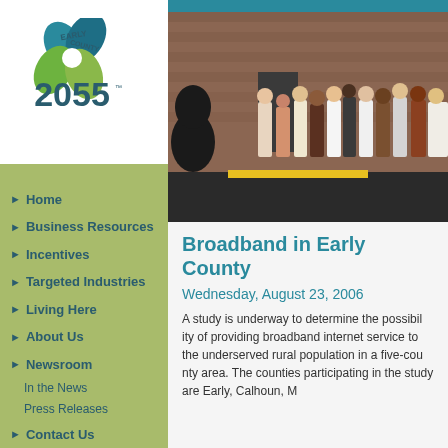[Figure (logo): Early County 2055 logo with teal and green leaf/flower shape and text]
Home
Business Resources
Incentives
Targeted Industries
Living Here
About Us
Newsroom
In the News
Press Releases
Contact Us
[Figure (photo): Group of people standing outside a brick building, appears to be a community or business event]
Broadband in Early County
Wednesday, August 23, 2006
A study is underway to determine the possibility of providing broadband internet service to the underserved rural population in a five-county area in Southwest Georgia. The counties participating in the study are Early, Calhoun, M...